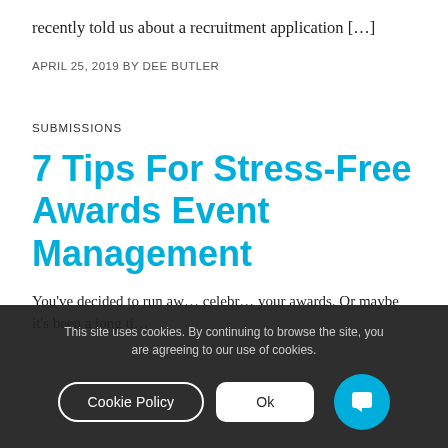recently told us about a recruitment application […]
APRIL 25, 2019 BY DEE BUTLER
SUBMISSIONS
7 Tips For Stress-Free Awards Event Management
You've decided to run aw… celebr… your awards. Or maybe it's been a long ti…
This site uses cookies. By continuing to browse the site, you are agreeing to our use of cookies.